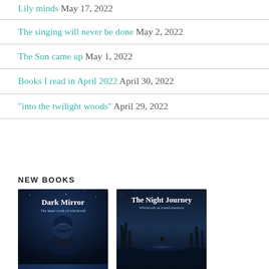Lily minds May 17, 2022
The singing will never be done May 2, 2022
The Sun came up May 1, 2022
Books I read in April 2022 April 30, 2022
“into the twilight woods” April 29, 2022
NEW BOOKS
[Figure (photo): Book cover: Dark Mirror - The inner work of witchcraft. Dark blue/night sky background with a figure.]
[Figure (photo): Book cover: The Night Journey - Witchcraft as transformation. Dark forest with glowing light and a bird silhouette.]